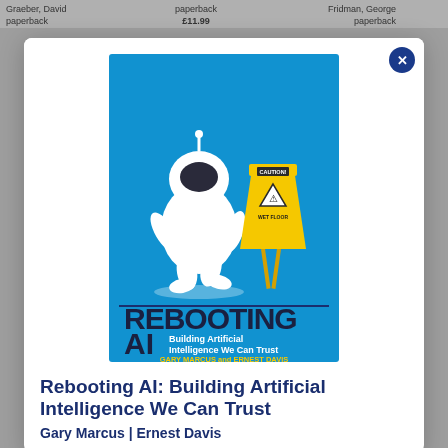Graeber, David paperback   paperback £11.99   Fridman, George paperback
[Figure (illustration): Book cover of 'Rebooting AI: Building Artificial Intelligence We Can Trust' by Gary Marcus and Ernest Davis. Blue background with a white cartoon robot slipping near a yellow 'Caution Wet Floor' sign. Bold title 'REBOOTING AI' in large black letters, subtitle 'Building Artificial Intelligence We Can Trust' in white, authors 'GARY MARCUS and ERNEST DAVIS' in yellow, and a quote from Gary Kasparov at the bottom in white italic text.]
Rebooting AI: Building Artificial Intelligence We Can Trust
Gary Marcus | Ernest Davis